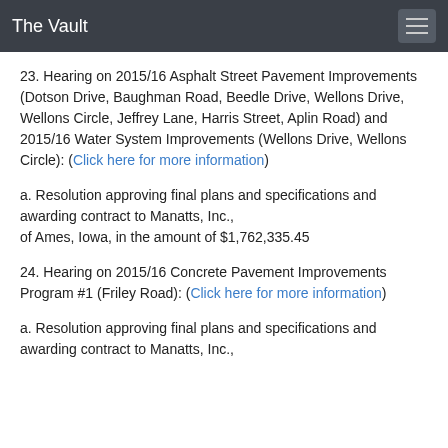The Vault
23. Hearing on 2015/16 Asphalt Street Pavement Improvements (Dotson Drive, Baughman Road, Beedle Drive, Wellons Drive, Wellons Circle, Jeffrey Lane, Harris Street, Aplin Road) and 2015/16 Water System Improvements (Wellons Drive, Wellons Circle): (Click here for more information)
a. Resolution approving final plans and specifications and awarding contract to Manatts, Inc., of Ames, Iowa, in the amount of $1,762,335.45
24. Hearing on 2015/16 Concrete Pavement Improvements Program #1 (Friley Road): (Click here for more information)
a. Resolution approving final plans and specifications and awarding contract to Manatts, Inc.,